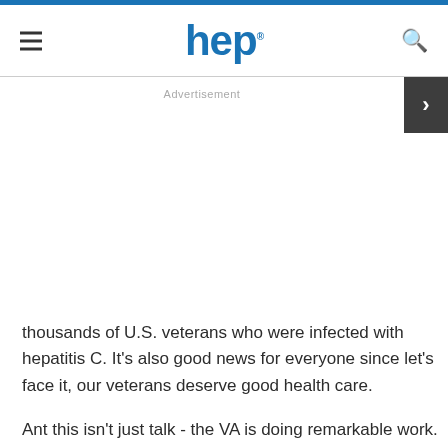hep
Advertisement
thousands of U.S. veterans who were infected with hepatitis C. It’s also good news for everyone since let’s face it, our veterans deserve good health care.
Ant this isn’t just talk - the VA is doing remarkable work.